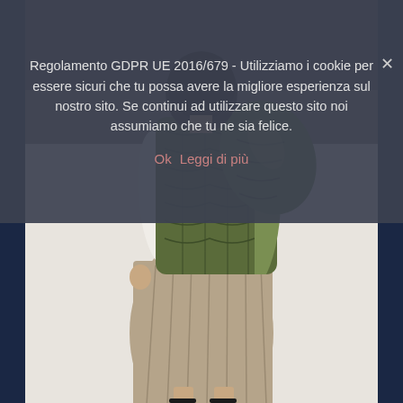Regolamento GDPR UE 2016/679 - Utilizziamo i cookie per essere sicuri che tu possa avere la migliore esperienza sul nostro sito. Se continui ad utilizzare questo sito noi assumiamo che tu ne sia felice.
Ok   Leggi di più
[Figure (photo): Fashion photo of a person from behind wearing an olive/green quilted vest over a white long-sleeve top, with a khaki/beige pleated midi skirt and black heeled sandals, on a light background]